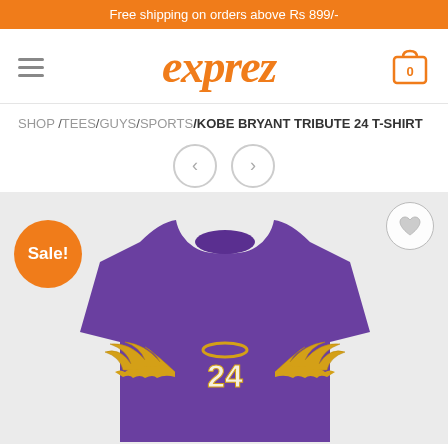Free shipping on orders above Rs 899/-
[Figure (logo): Exprez brand logo in orange italic cursive font with hamburger menu on left and shopping cart icon with '0' on right]
SHOP /TEES/GUYS/SPORTS/KOBE BRYANT TRIBUTE 24 T-SHIRT
[Figure (other): Left and right navigation arrow buttons (previous/next product)]
[Figure (photo): Purple t-shirt with golden angel wings and halo design featuring the number 24, Kobe Bryant tribute graphic. Sale! badge in orange circle at bottom left. Heart/wishlist button at top right.]